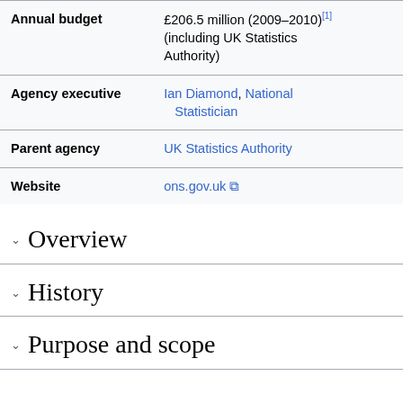| Field | Value |
| --- | --- |
| Annual budget | £206.5 million (2009–2010)[1] (including UK Statistics Authority) |
| Agency executive | Ian Diamond, National Statistician |
| Parent agency | UK Statistics Authority |
| Website | ons.gov.uk |
Overview
History
Purpose and scope